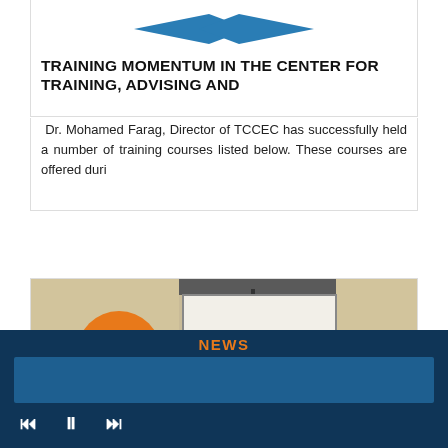[Figure (logo): Blue diamond/rhombus logo centered above blue horizontal rule]
TRAINING MOMENTUM IN THE CENTER FOR TRAINING, ADVISING AND
Dr. Mohamed Farag, Director of TCCEC has successfully held a number of training courses listed below. These courses are offered duri
[Figure (photo): Photo of a training room with a projection screen, ceiling-mounted projector, balloons, and an orange circular date badge showing Oct 02]
NEWS
navigation controls: back, pause, forward